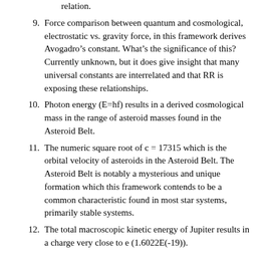relation.
9. Force comparison between quantum and cosmological, electrostatic vs. gravity force, in this framework derives Avogadro’s constant. What’s the significance of this? Currently unknown, but it does give insight that many universal constants are interrelated and that RR is exposing these relationships.
10. Photon energy (E=hf) results in a derived cosmological mass in the range of asteroid masses found in the Asteroid Belt.
11. The numeric square root of c = 17315 which is the orbital velocity of asteroids in the Asteroid Belt. The Asteroid Belt is notably a mysterious and unique formation which this framework contends to be a common characteristic found in most star systems, primarily stable systems.
12. The total macroscopic kinetic energy of Jupiter results in a charge very close to e (1.6022E(-19)).